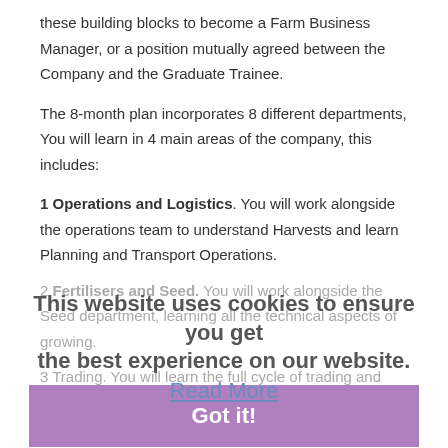these building blocks to become a Farm Business Manager, or a position mutually agreed between the Company and the Graduate Trainee.
The 8-month plan incorporates 8 different departments, You will learn in 4 main areas of the company, this includes:
1 Operations and Logistics. You will work alongside the operations team to understand Harvests and learn Planning and Transport Operations.
2 Fertilisers and Seed. You will work alongside the Seed department, learning all the technical aspects of growing.
3 Trading. You will learn the full cycle of trading and work with the trading team.
4 Farm Business Management. You will work and train alongside an experienced FBM to gain knowledge of role responsibilities and best practice.
This website uses cookies to ensure you get the best experience on our website.
Read More
Got it!